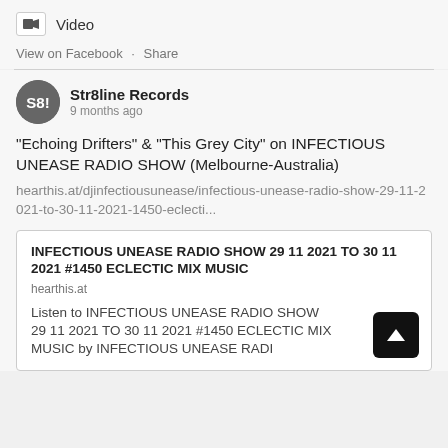Video
View on Facebook · Share
Str8line Records
9 months ago
"Echoing Drifters" & "This Grey City" on INFECTIOUS UNEASE RADIO SHOW (Melbourne-Australia)
hearthis.at/djinfectiousunease/infectious-unease-radio-show-29-11-2021-to-30-11-2021-1450-eclecti...
INFECTIOUS UNEASE RADIO SHOW 29 11 2021 TO 30 11 2021 #1450 ECLECTIC MIX MUSIC
hearthis.at
Listen to INFECTIOUS UNEASE RADIO SHOW 29 11 2021 TO 30 11 2021 #1450 ECLECTIC MIX MUSIC by INFECTIOUS UNEASE RADI